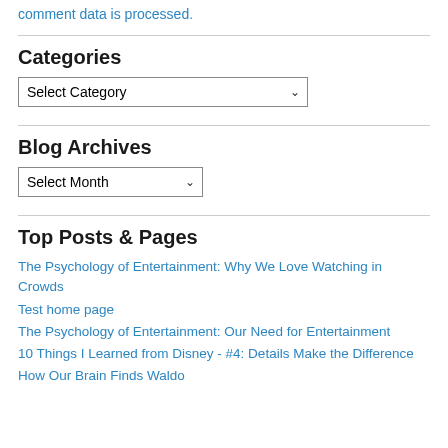comment data is processed.
Categories
Select Category
Blog Archives
Select Month
Top Posts & Pages
The Psychology of Entertainment: Why We Love Watching in Crowds
Test home page
The Psychology of Entertainment: Our Need for Entertainment
10 Things I Learned from Disney - #4: Details Make the Difference
How Our Brain Finds Waldo